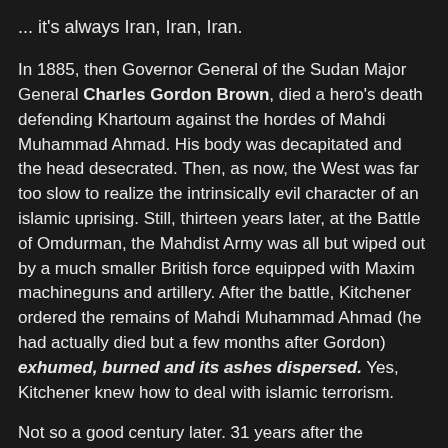... it's always Iran, Iran, Iran.
In 1885, then Governor General of the Sudan Major General Charles Gordon Brown, died a hero's death defending Khartoum against the hordes of Mahdi Muhammad Ahmad. His body was decapitated and the head desecrated. Then, as now, the West was far too slow to realize the intrinsically evil character of an islamic uprising. Still, thirteen years later, at the Battle of Omdurman, the Mahdist Army was all but wiped out by a much smaller British force equipped with Maxim machineguns and artillery. After the battle, Kitchener ordered the remains of Mahdi Muhammad Ahmad (he had actually died but a few months after Gordon) exhumed, burned and its ashes dispersed. Yes, Kitchener knew how to deal with islamic terrorism.
Not so a good century later. 31 years after the beginning of Khomeiny's Revolution, and after countless often very blooded provocations, Iran continues to up the ante... to the point where they think they can dictate what can and cannot be shown to the Canadian public.